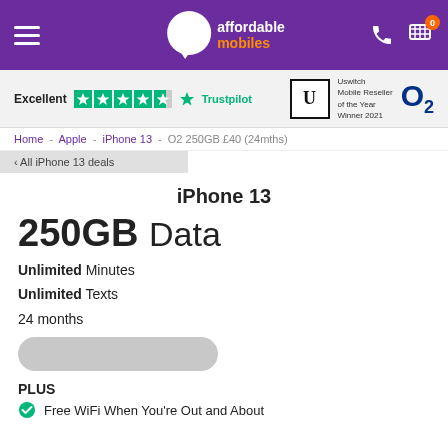affordable mobiles — navigation header
[Figure (logo): Affordable Mobiles logo with speech bubble icon, white and orange text on purple background. Trustpilot Excellent rating with 5 stars. Uswitch Mobile Reseller of the Year Winner 2021. O2 logo.]
Home - Apple - iPhone 13 - O2 250GB £40 (24mths)
< All iPhone 13 deals
iPhone 13
250GB Data
Unlimited Minutes
Unlimited Texts
24 months
PLUS
Free WiFi When You're Out and About